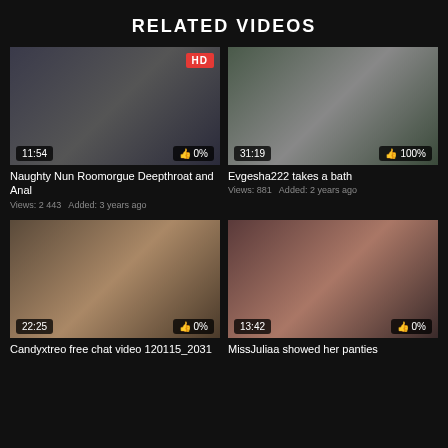RELATED VIDEOS
[Figure (screenshot): Video thumbnail 1: Naughty Nun Roomorgue Deepthroat and Anal, duration 11:54, HD badge, 0% likes]
Naughty Nun Roomorgue Deepthroat and Anal
Views: 2 443   Added: 3 years ago
[Figure (screenshot): Video thumbnail 2: Evgesha222 takes a bath, duration 31:19, 100% likes]
Evgesha222 takes a bath
Views: 881   Added: 2 years ago
[Figure (screenshot): Video thumbnail 3: Candyxtreo free chat video 120115_2031, duration 22:25, 0% likes]
Candyxtreo free chat video 120115_2031
[Figure (screenshot): Video thumbnail 4: MissJuliaa showed her panties, duration 13:42, 0% likes]
MissJuliaa showed her panties